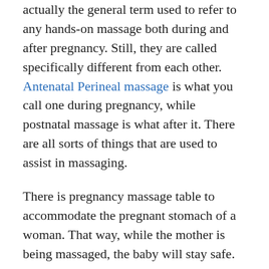actually the general term used to refer to any hands-on massage both during and after pregnancy. Still, they are called specifically different from each other. Antenatal Perineal massage is what you call one during pregnancy, while postnatal massage is what after it. There are all sorts of things that are used to assist in massaging.
There is pregnancy massage table to accommodate the pregnant stomach of a woman. That way, while the mother is being massaged, the baby will stay safe. Other than that, massage practitioners might also use bolsters. They are specifically designed pillows meant to position pregnant women on her side comfortably for them and safely for the baby inside her. With the massage lasting for one hour long, every mother to be can still reap the benefits of massage even during their pregnancy.
What Mother to Be Can Truly